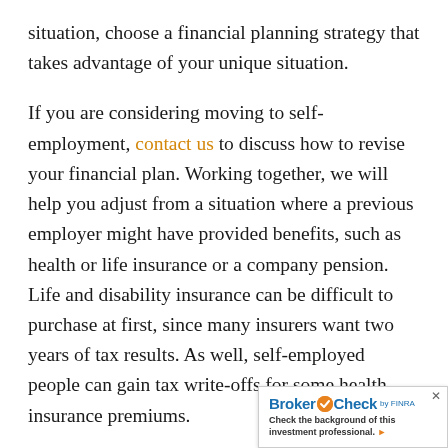situation, choose a financial planning strategy that takes advantage of your unique situation.
If you are considering moving to self-employment, contact us to discuss how to revise your financial plan. Working together, we will help you adjust from a situation where a previous employer might have provided benefits, such as health or life insurance or a company pension. Life and disability insurance can be difficult to purchase at first, since many insurers want two years of tax results. As well, self-employed people can gain tax write-offs for some health insurance premiums.
You may also need to negotiate a bank l... of credit to help fund office space, mate...
[Figure (other): BrokerCheck by FINRA overlay widget in bottom-right corner. Shows 'BrokerCheck by FINRA' logo in blue with an orange checkmark circle, and text 'Check the background of this investment professional.' with a close button (x) and right arrow.]